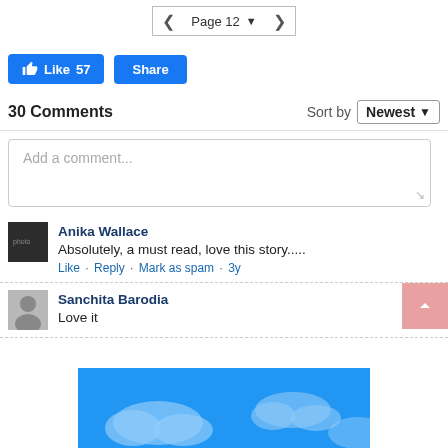[Figure (screenshot): Pagination control showing left arrow, Page 12 dropdown, right arrow]
[Figure (screenshot): Like (57) and Share buttons in Facebook blue style]
30 Comments
Sort by Newest
[Figure (screenshot): Add a comment text input box]
Anika Wallace
Absolutely, a must read, love this story.....
Like · Reply · Mark as spam · 3y
Sanchita Barodia
Love it
[Figure (screenshot): Blue sky with clouds advertisement banner at the bottom]